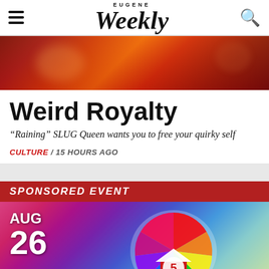EUGENE Weekly
[Figure (photo): Colorful photo of a person in costume with red hair and dramatic makeup, artistic and vibrant]
Weird Royalty
“Raining” SLUG Queen wants you to free your quirky self
CULTURE / 15 HOURS AGO
SPONSORED EVENT
[Figure (infographic): AUG 26 event banner with rainbow circular market logo graphic reading '5 MARKET']